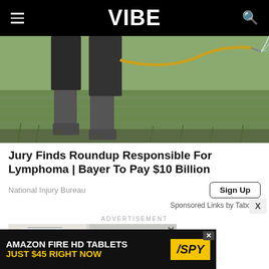VIBE
[Figure (photo): Person in rubber boots and dark clothing spraying pesticide/herbicide over a wet rice paddy field with a handheld sprayer.]
Jury Finds Roundup Responsible For Lymphoma | Bayer To Pay $10 Billion
National Injury Bureau
Sign Up
Sponsored Links by Taboola
ADVERTISEMENT
[Figure (photo): Interior room advertisement image (partially visible), with a close button X in the top right corner.]
[Figure (other): Bottom banner advertisement: AMAZON FIRE HD TABLETS JUST $45 RIGHT NOW with SPY logo on yellow background.]